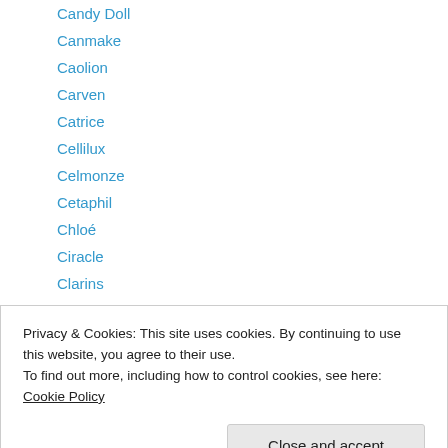Candy Doll
Canmake
Caolion
Carven
Catrice
Cellilux
Celmonze
Cetaphil
Chloé
Ciracle
Clarins
ClearSK
Clinique
Privacy & Cookies: This site uses cookies. By continuing to use this website, you agree to their use.
To find out more, including how to control cookies, see here: Cookie Policy
Crabtree & Evelyn